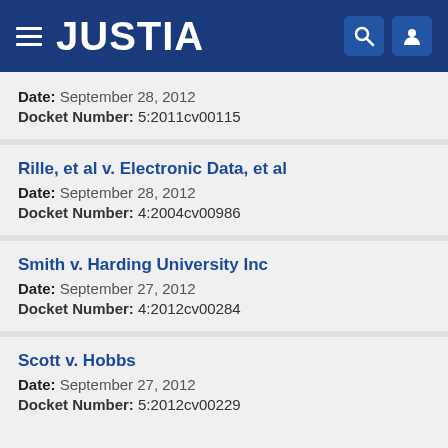JUSTIA
Date: September 28, 2012
Docket Number: 5:2011cv00115
Rille, et al v. Electronic Data, et al
Date: September 28, 2012
Docket Number: 4:2004cv00986
Smith v. Harding University Inc
Date: September 27, 2012
Docket Number: 4:2012cv00284
Scott v. Hobbs
Date: September 27, 2012
Docket Number: 5:2012cv00229